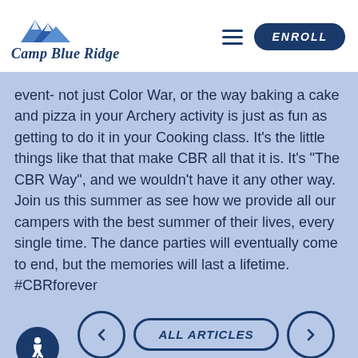[Figure (logo): Camp Blue Ridge logo with mountain silhouette and stylized cursive text]
event- not just Color War, or the way baking a cake and pizza in your Archery activity is just as fun as getting to do it in your Cooking class. It's the little things like that that make CBR all that it is. It's "The CBR Way", and we wouldn't have it any other way. Join us this summer as see how we provide all our campers with the best summer of their lives, every single time. The dance parties will eventually come to end, but the memories will last a lifetime. #CBRforever
[Figure (infographic): Navigation footer with accessibility icon, back arrow button, All Articles button, and forward arrow button]